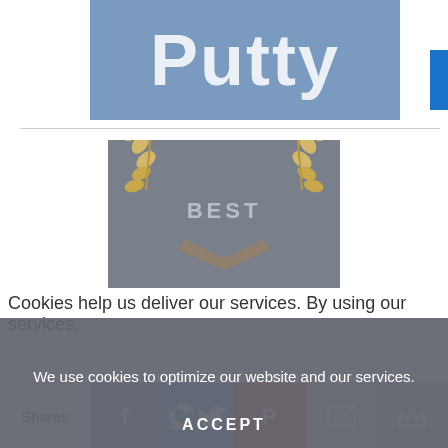[Figure (logo): Putty blog logo — stylized white 'Putty' text on a steel-blue rectangular banner]
[Figure (illustration): Award badge with gold laurel wreaths on a gray-blue background with the text BEST]
Cookies help us deliver our services. By using our services,
We use cookies to optimize our website and our services.
ACCEPT
Opt-out preferences   BLOG POLICIES
Shares